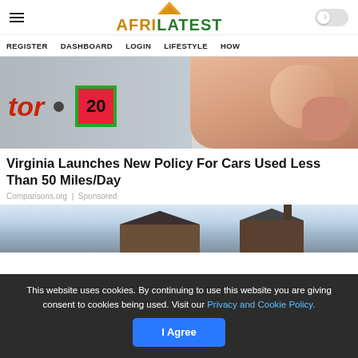AFRILATEST — REGISTER | DASHBOARD | LOGIN | LIFESTYLE | HOW
[Figure (photo): Close-up of a license plate showing 'tor' in red italic text, a circular bolt, and a pink sticker with '20' in black, with a hand pressing on it]
Virginia Launches New Policy For Cars Used Less Than 50 Miles/Day
Comparisons.org | Sponsored
[Figure (photo): House rooftop against a light blue sky]
This website uses cookies. By continuing to use this website you are giving consent to cookies being used. Visit our Privacy and Cookie Policy.